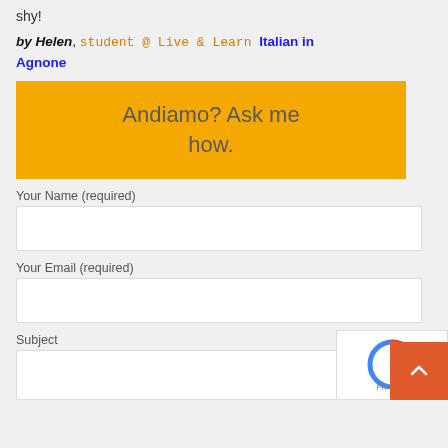shy!
by Helen, student @ Live & Learn Italian in Agnone
[Figure (other): Yellow/orange banner with text: Andiamo? Ask me how.]
Your Name (required)
Your Email (required)
Subject